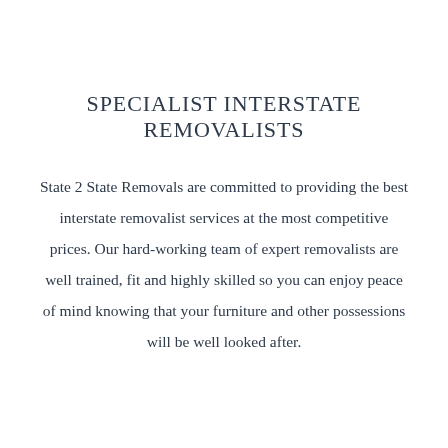SPECIALIST INTERSTATE REMOVALISTS
State 2 State Removals are committed to providing the best interstate removalist services at the most competitive prices. Our hard-working team of expert removalists are well trained, fit and highly skilled so you can enjoy peace of mind knowing that your furniture and other possessions will be well looked after.